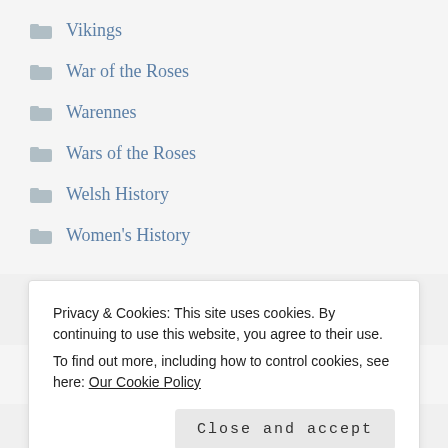Vikings
War of the Roses
Warennes
Wars of the Roses
Welsh History
Women's History
RECENT POSTS
Privacy & Cookies: This site uses cookies. By continuing to use this website, you agree to their use.
To find out more, including how to control cookies, see here: Our Cookie Policy
Close and accept
Guest Post: The Dark Earth by Gordon Doherty